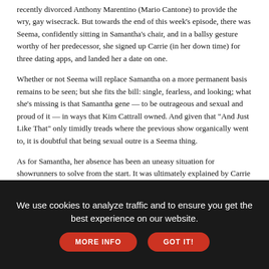recently divorced Anthony Marentino (Mario Cantone) to provide the wry, gay wisecrack. But towards the end of this week's episode, there was Seema, confidently sitting in Samantha's chair, and in a ballsy gesture worthy of her predecessor, she signed up Carrie (in her down time) for three dating apps, and landed her a date on one.
Whether or not Seema will replace Samantha on a more permanent basis remains to be seen; but she fits the bill: single, fearless, and looking; what she's missing is that Samantha gene — to be outrageous and sexual and proud of it — in ways that Kim Cattrall owned. And given that "And Just Like That" only timidly treads where the previous show organically went to, it is doubtful that being sexual outre is a Seema thing.
As for Samantha, her absence has been an uneasy situation for showrunners to solve from the start. It was ultimately explained by Carrie as the result of a personal tiff: Carrie needed to fire her as a publicist and Samantha took it personally in an odd inverse of the real course of events in which Kim Cattrall essentially fired Sarah
We use cookies to analyze traffic and to ensure you get the best experience on our website.
MORE INFO
GOT IT!